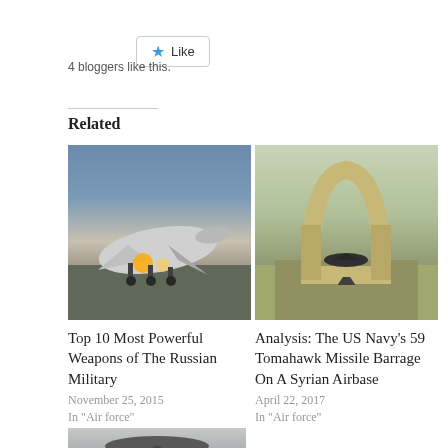[Figure (other): Like button with star icon]
4 bloggers like this.
Related
[Figure (photo): Military jet aircraft taking off on a runway with dramatic sky background]
[Figure (photo): Airbase with concrete arch hangar structure, jet aircraft visible underneath]
Top 10 Most Powerful Weapons of The Russian Military
November 25, 2015
In "Air force"
Analysis: The US Navy's 59 Tomahawk Missile Barrage On A Syrian Airbase
April 22, 2017
In "Air force"
[Figure (photo): Military AWACS aircraft with rotating radar dome, partial view from below]